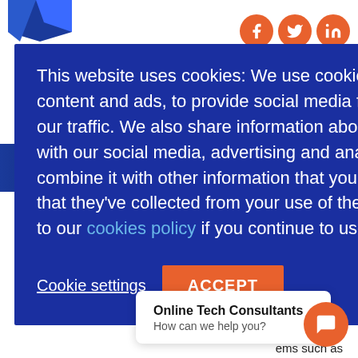[Figure (screenshot): Website header with blue logo ribbon top-left, three orange circular social media icons (Facebook, Twitter, LinkedIn) top-right, and a dark blue hamburger menu button.]
[Figure (screenshot): Dark blue navigation banner with orange italic bold heading text partially visible ('NG') on the right side.]
aged security
rmalizes log
oled analysis
M, threat
tions Center.
ems such as
oordinated
[Figure (screenshot): Cookie consent overlay dialog with dark blue background containing cookie policy text, a 'Cookie settings' underlined link button, and an orange 'ACCEPT' button.]
This website uses cookies: We use cookies to personalize content and ads, to provide social media features and to analyze our traffic. We also share information about your use of our site with our social media, advertising and analytics partners who may combine it with other information that you've provided to them or that they've collected from your use of their services. You consent to our cookies policy if you continue to use our website.
Cookie settings
ACCEPT
Online Tech Consultants
How can we help you?